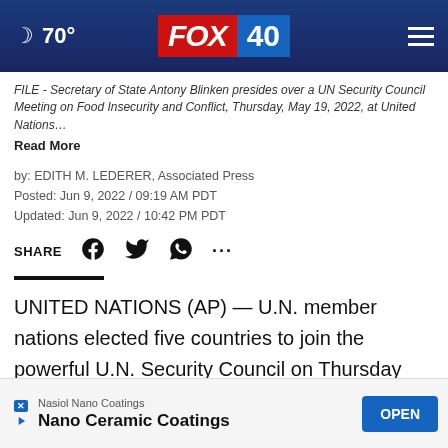🌙 70° FOX 40
FILE - Secretary of State Antony Blinken presides over a UN Security Council Meeting on Food Insecurity and Conflict, Thursday, May 19, 2022, at United Nations… Read More
by: EDITH M. LEDERER, Associated Press
Posted: Jun 9, 2022 / 09:19 AM PDT
Updated: Jun 9, 2022 / 10:42 PM PDT
SHARE
UNITED NATIONS (AP) — U.N. member nations elected five countries to join the powerful U.N. Security Council on Thursday with no suspense or drama... Japan, Malta,